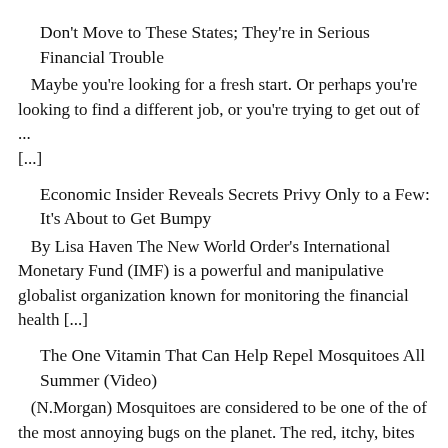Don't Move to These States; They're in Serious Financial Trouble
Maybe you're looking for a fresh start. Or perhaps you're looking to find a different job, or you're trying to get out of ... [...]
Economic Insider Reveals Secrets Privy Only to a Few: It's About to Get Bumpy
By Lisa Haven The New World Order's International Monetary Fund (IMF) is a powerful and manipulative globalist organization known for monitoring the financial health [...]
The One Vitamin That Can Help Repel Mosquitoes All Summer (Video)
(N.Morgan) Mosquitoes are considered to be one of the of the most annoying bugs on the planet. The red, itchy, bites can cause pain, scabs and can even lead to [...]
9 Plants and Herbs That Repair Lung Damage, Combat Infections and Boost Lung Health
by David Wolfe When you come down with a cough, a cold or